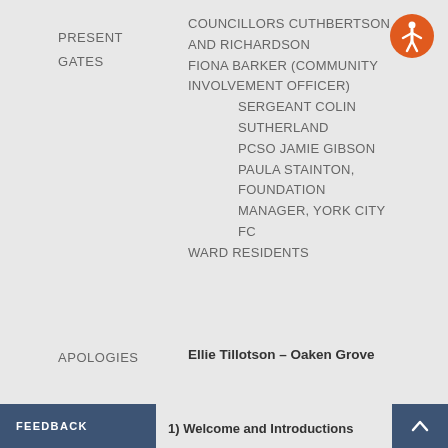PRESENT
COUNCILLORS CUTHBERTSON GATES AND RICHARDSON
FIONA BARKER (COMMUNITY INVOLVEMENT OFFICER)
SERGEANT COLIN SUTHERLAND
PCSO JAMIE GIBSON
PAULA STAINTON, FOUNDATION MANAGER, YORK CITY FC
WARD RESIDENTS
APOLOGIES
Ellie Tillotson – Oaken Grove
1)  Welcome and Introductions
FEEDBACK